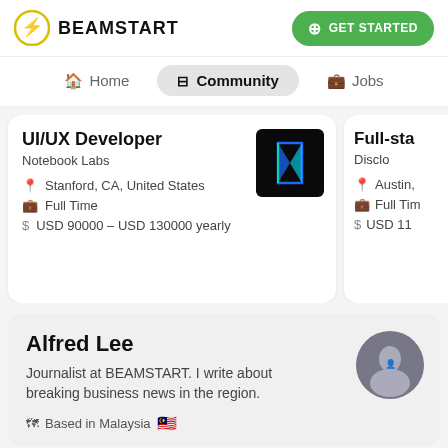BEAMSTART
GET STARTED
Home  Community  Jobs
UI/UX Developer
Notebook Labs
Stanford, CA, United States
Full Time
USD 90000 – USD 130000 yearly
Full-sta
Disclo
Austin,
Full Tim
USD 11
Alfred Lee
Journalist at BEAMSTART. I write about breaking business news in the region.
Based in Malaysia